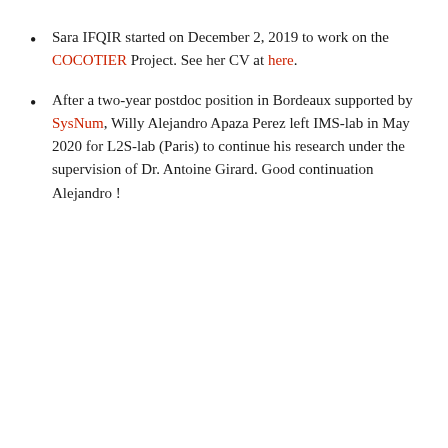Sara IFQIR started on December 2, 2019 to work on the COCOTIER Project. See her CV at here.
After a two-year postdoc position in Bordeaux supported by SysNum, Willy Alejandro Apaza Perez left IMS-lab in May 2020 for L2S-lab (Paris) to continue his research under the supervision of Dr. Antoine Girard. Good continuation Alejandro !